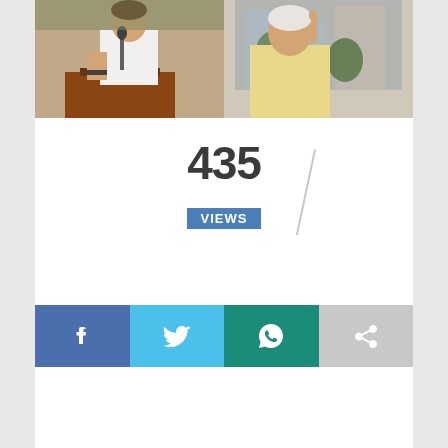[Figure (photo): Collage of two people: left side shows a man in white shirt at a podium with a microphone, right side shows an elderly person in yellow/cream clothing with finger raised, against a background with buildings and trees.]
435 VIEWS
[Figure (infographic): Four social sharing buttons in a row: Facebook (blue), Twitter (light blue), WhatsApp (teal/green), and a general share button (grey).]